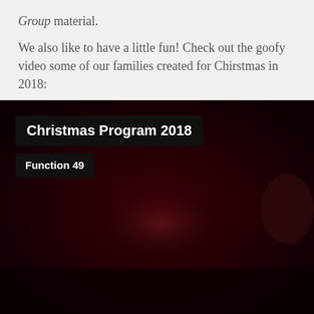Group material.
We also like to have a little fun! Check out the goofy video some of our families created for Chirstmas in 2018:
[Figure (screenshot): Video thumbnail showing Christmas Program 2018, Function 49 label, dark red background with blurry figures]